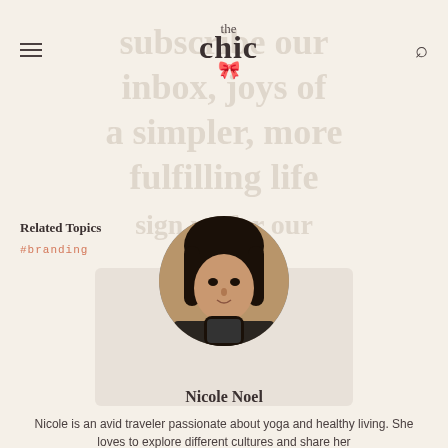the chic
[Figure (other): Faded background text reading: subscribe our inbox, joys of a simpler, more fulfilling life, sign up for our newsletter]
Related Topics
#branding
[Figure (photo): Circular portrait photo of Nicole Noel, a young woman with dark hair holding a phone, looking at camera]
Nicole Noel
Nicole is an avid traveler passionate about yoga and healthy living. She loves to explore different cultures and share her